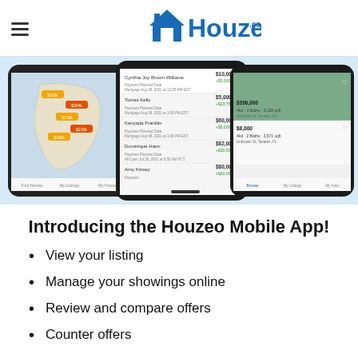Houzeo.com
[Figure (screenshot): Three overlapping smartphone screens showing the Houzeo mobile app: left screen shows a Florida map with property price markers, center screen shows a list of contacts/offers with names, amounts, and payment dates, right screen shows property listings with photos and details.]
Introducing the Houzeo Mobile App!
View your listing
Manage your showings online
Review and compare offers
Counter offers